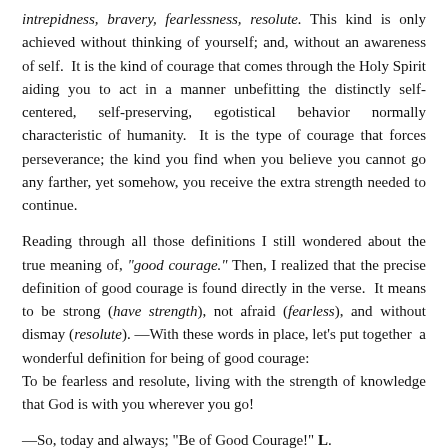intrepidness, bravery, fearlessness, resolute. This kind is only achieved without thinking of yourself; and, without an awareness of self. It is the kind of courage that comes through the Holy Spirit aiding you to act in a manner unbefitting the distinctly self-centered, self-preserving, egotistical behavior normally characteristic of humanity. It is the type of courage that forces perseverance; the kind you find when you believe you cannot go any farther, yet somehow, you receive the extra strength needed to continue.
Reading through all those definitions I still wondered about the true meaning of, "good courage." Then, I realized that the precise definition of good courage is found directly in the verse. It means to be strong (have strength), not afraid (fearless), and without dismay (resolute). —With these words in place, let's put together a wonderful definition for being of good courage:
To be fearless and resolute, living with the strength of knowledge that God is with you wherever you go!
—So, today and always; "Be of Good Courage!" L.
Study Reference: Joshua 1:9